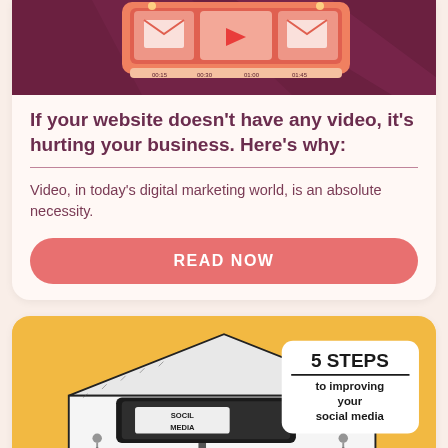[Figure (illustration): Illustration of a phone/tablet with video player showing play button and timeline scrubber with timestamps 00:15, 00:30, 01:00, 01:45, set against a purple/red background with envelope icons]
If your website doesn't have any video, it's hurting your business. Here's why:
Video, in today's digital marketing world, is an absolute necessity.
READ NOW
[Figure (illustration): Cartoon illustration of a large barn/building with a social media sign on a tablet inside, on a yellow/orange background. Text overlay reads: 5 STEPS to improving your social media]